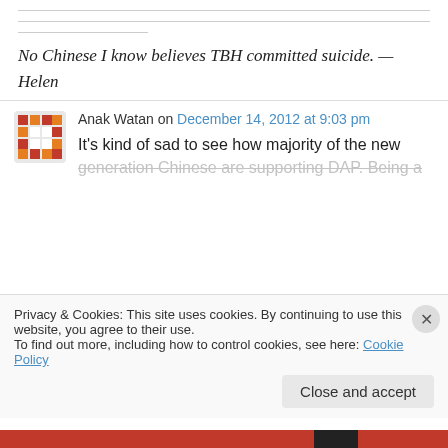No Chinese I know believes TBH committed suicide. — Helen
Anak Watan on December 14, 2012 at 9:03 pm
It's kind of sad to see how majority of the new generation Chinese are supporting DAP. Being a
Privacy & Cookies: This site uses cookies. By continuing to use this website, you agree to their use.
To find out more, including how to control cookies, see here: Cookie Policy
Close and accept